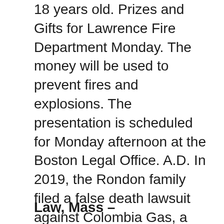18 years old. Prizes and Gifts for Lawrence Fire Department Monday. The money will be used to prevent fires and explosions. The presentation is scheduled for Monday afternoon at the Boston Legal Office. A.D. In 2019, the Rondon family filed a false death lawsuit against Colombia Gas, a utility company that owns gas pipelines. Since the settlement, the Rondon family has stepped up security measures. Twenty-five other people were injured and more than 100 homes were damaged or destroyed in a series of natural gas explosions in the Lawrence, Andover and North Andover communities.
Law, Mass –